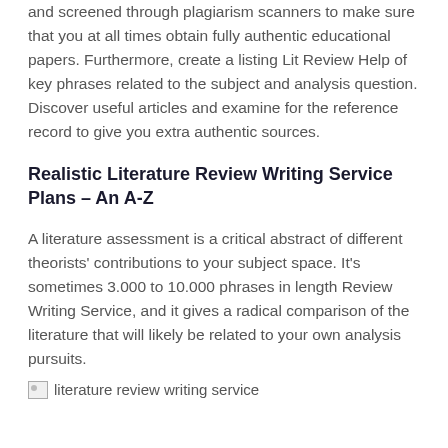and screened through plagiarism scanners to make sure that you at all times obtain fully authentic educational papers. Furthermore, create a listing Lit Review Help of key phrases related to the subject and analysis question. Discover useful articles and examine for the reference record to give you extra authentic sources.
Realistic Literature Review Writing Service Plans – An A-Z
A literature assessment is a critical abstract of different theorists' contributions to your subject space. It's sometimes 3.000 to 10.000 phrases in length Review Writing Service, and it gives a radical comparison of the literature that will likely be related to your own analysis pursuits.
[Figure (photo): Broken image placeholder labeled 'literature review writing service']